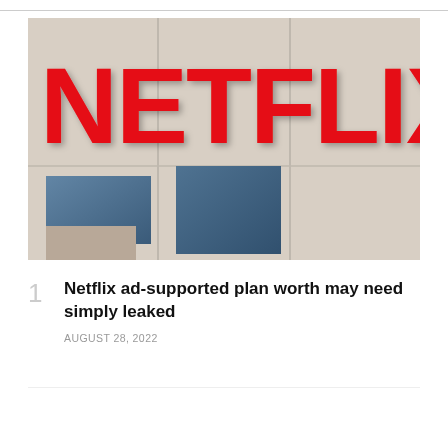[Figure (photo): Photo of a building exterior with a large red NETFLIX sign mounted on a white/beige wall, with blue windows visible below]
Netflix ad-supported plan worth may need simply leaked
AUGUST 28, 2022